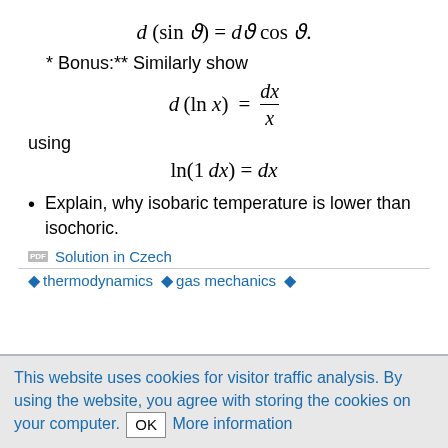* Bonus:** Similarly show
using
Explain, why isobaric temperature is lower than isochoric.
Solution in Czech
thermodynamics  gas mechanics
This website uses cookies for visitor traffic analysis. By using the website, you agree with storing the cookies on your computer. OK More information